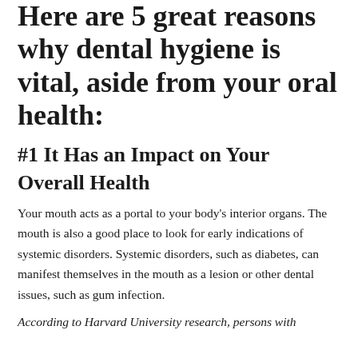Here are 5 great reasons why dental hygiene is vital, aside from your oral health:
#1 It Has an Impact on Your Overall Health
Your mouth acts as a portal to your body's interior organs. The mouth is also a good place to look for early indications of systemic disorders. Systemic disorders, such as diabetes, can manifest themselves in the mouth as a lesion or other dental issues, such as gum infection.
According to Harvard University research, persons with